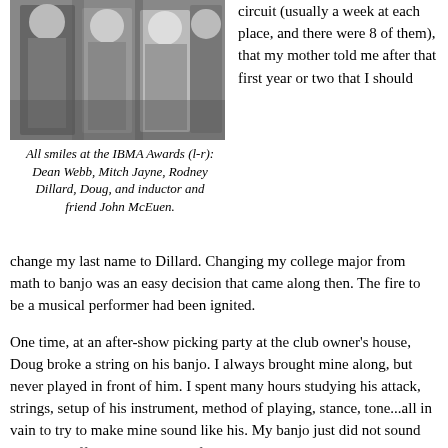[Figure (photo): Black and white photograph of several men smiling at the IBMA Awards ceremony.]
All smiles at the IBMA Awards (l-r): Dean Webb, Mitch Jayne, Rodney Dillard, Doug, and inductor and friend John McEuen.
circuit (usually a week at each place, and there were 8 of them), that my mother told me after that first year or two that I should change my last name to Dillard. Changing my college major from math to banjo was an easy decision that came along then. The fire to be a musical performer had been ignited.
One time, at an after-show picking party at the club owner's house, Doug broke a string on his banjo. I always brought mine along, but never played in front of him. I spent many hours studying his attack, strings, setup of his instrument, method of playing, stance, tone...all in vain to try to make mine sound like his. My banjo just did not sound like his. I offered him the use of mine while I changed the string. He started playing it, and...it sounded just like his. That is when